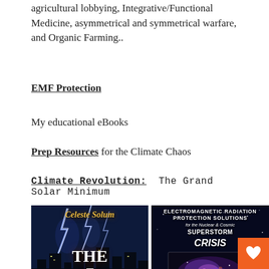agricultural lobbying, Integrative/Functional Medicine, asymmetrical and symmetrical warfare, and Organic Farming..
EMF Protection
My educational eBooks
Prep Resources for the Climate Chaos
Climate Revolution: The Grand Solar Minimum
[Figure (photo): Book cover: 'The 7 Thunders' by Celeste Solum, showing a city skyline with lightning against a dark stormy sky]
[Figure (photo): Book cover: 'Electromagnetic Radiation Protection Solutions for the Nuclear & Cosmic Superstorm CRISIS', showing a space nebula image]